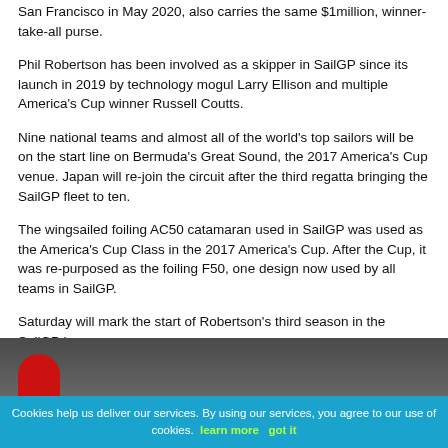San Francisco in May 2020, also carries the same $1million, winner-take-all purse.
Phil Robertson has been involved as a skipper in SailGP since its launch in 2019 by technology mogul Larry Ellison and multiple America's Cup winner Russell Coutts.
Nine national teams and almost all of the world's top sailors will be on the start line on Bermuda's Great Sound, the 2017 America's Cup venue. Japan will re-join the circuit after the third regatta bringing the SailGP fleet to ten.
The wingsailed foiling AC50 catamaran used in SailGP was used as the America's Cup Class in the 2017 America's Cup. After the Cup, it was re-purposed as the foiling F50, one design now used by all teams in SailGP.
Saturday will mark the start of Robertson's third season in the SailGP league.
[Figure (photo): Partial image visible at bottom of page, dark background with red shape visible]
Cookies help us deliver our services. By using our services, you agree to our use of cookies.  learn more   got it